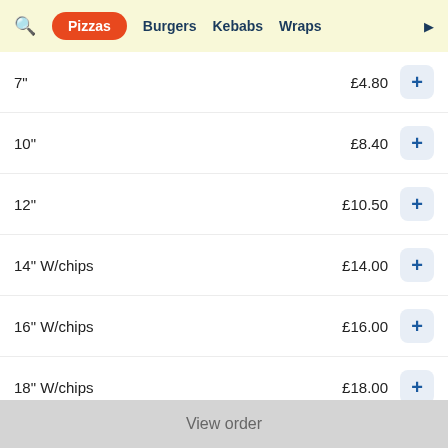🔍  Pizzas  Burgers  Kebabs  Wraps  ▶
7"  £4.80
10"  £8.40
12"  £10.50
14" W/chips  £14.00
16" W/chips  £16.00
18" W/chips  £18.00
Tutti Fruitti Pizza
View order